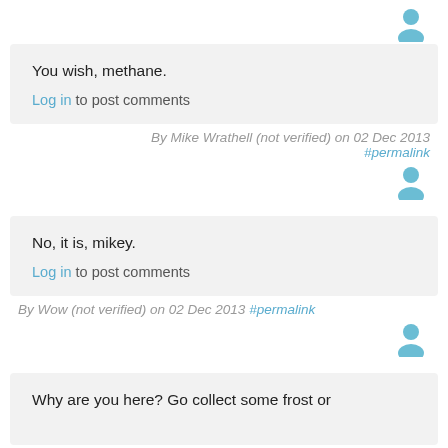[Figure (illustration): Blue generic user avatar icon, top right]
You wish, methane.
Log in to post comments
By Mike Wrathell (not verified) on 02 Dec 2013 #permalink
[Figure (illustration): Blue generic user avatar icon, right side]
No, it is, mikey.
Log in to post comments
By Wow (not verified) on 02 Dec 2013 #permalink
[Figure (illustration): Blue generic user avatar icon, right side]
Why are you here? Go collect some frost or